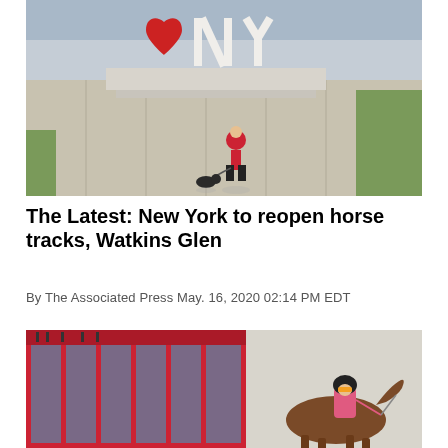[Figure (photo): Aerial view of a person in red walking a dog near a large 'I Love NY' sculpture with a red heart and white letter sculptures on a waterfront plaza]
The Latest: New York to reopen horse tracks, Watkins Glen
By The Associated Press May. 16, 2020 02:14 PM EDT
[Figure (photo): A jockey in a pink and white uniform riding a horse at a racetrack, with a large red and glass grandstand building visible in the background]